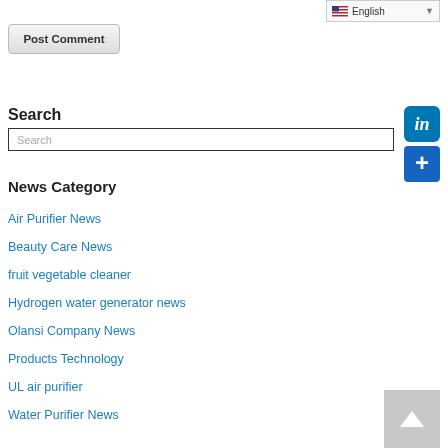English (language selector)
Post Comment
Search
Search (input placeholder)
News Category
Air Purifier News
Beauty Care News
fruit vegetable cleaner
Hydrogen water generator news
Olansi Company News
Products Technology
UL air purifier
Water Purifier News